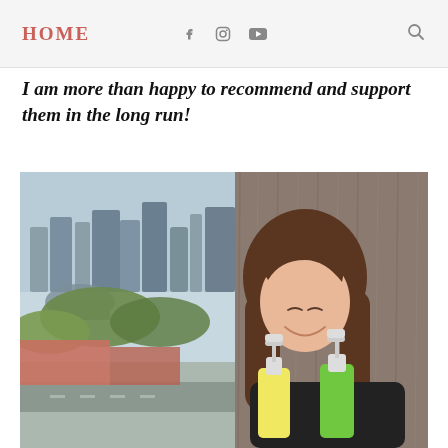HOME
I am more than happy to recommend and support them in the long run!
[Figure (photo): A young woman with long brown hair, smiling while holding multiple pump-bottle skincare/haircare products (yellow and green bottles). She is sitting by a window with curtains, and an urban Singapore cityscape with greenery is visible through the window in the background.]